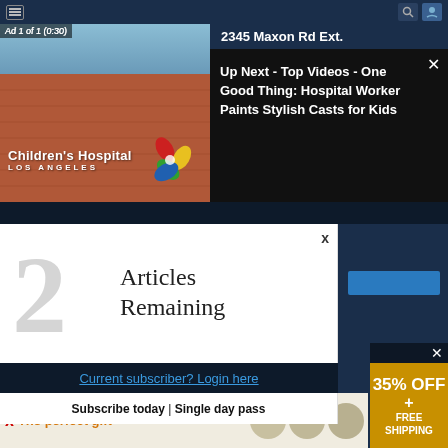[Figure (screenshot): Top navigation bar of a website/app with hamburger menu icon on left and search/profile icons on right, dark navy background]
2345 Maxon Rd Ext.
[Figure (photo): Children's Hospital Los Angeles building exterior with brick facade and logo with colorful flower/butterfly emblem]
Ad 1 of 1 (0:30)
Up Next - Top Videos - One Good Thing: Hospital Worker Paints Stylish Casts for Kids
2 Articles Remaining
Subscribe today | Single day pass
Current subscriber? Login here
The perfect gift
35% OFF + FREE SHIPPING